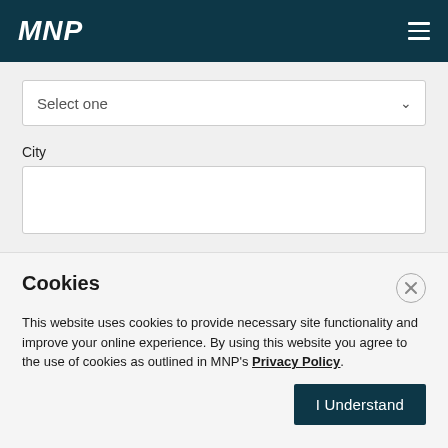MNP
[Figure (screenshot): Select one dropdown input box]
City
[Figure (screenshot): City text input box]
Cookies
This website uses cookies to provide necessary site functionality and improve your online experience. By using this website you agree to the use of cookies as outlined in MNP's Privacy Policy.
I Understand